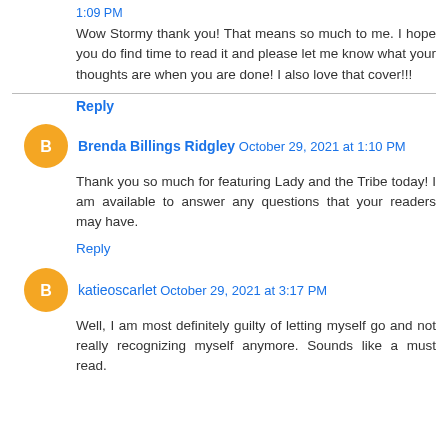1:09 PM
Wow Stormy thank you! That means so much to me. I hope you do find time to read it and please let me know what your thoughts are when you are done! I also love that cover!!!
Reply
Brenda Billings Ridgley October 29, 2021 at 1:10 PM
Thank you so much for featuring Lady and the Tribe today! I am available to answer any questions that your readers may have.
Reply
katieoscarlet October 29, 2021 at 3:17 PM
Well, I am most definitely guilty of letting myself go and not really recognizing myself anymore. Sounds like a must read.